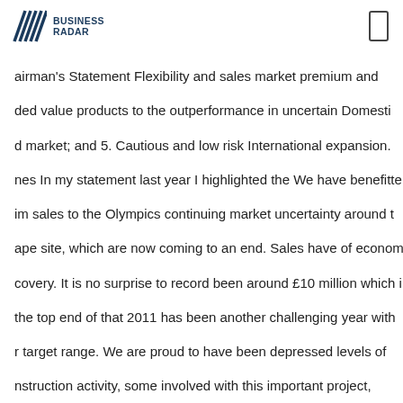Business Radar
airman's Statement Flexibility and sales market premium and ded value products to the outperformance in uncertain Domestic d market; and 5. Cautious and low risk International expansion. nes In my statement last year I highlighted the We have benefitte im sales to the Olympics continuing market uncertainty around t ape site, which are now coming to an end. Sales have of economi covery. It is no surprise to record been around £10 million which i the top end of that 2011 has been another challenging year with r target range. We are proud to have been depressed levels of nstruction activity, some involved with this important project, ich will be reduction in public spending and low consumer a owcase for Britain. confidence. During the year we made a small, v risk Against this background and the current opportunistic vestment to acquire a business in expectation that any general onomic recovery Belgium. This will provide a foothold in Europe w slow, your Board has continued its strategy enabling us to marke anufactured concrete of ensuring that Marshalls retains maximur